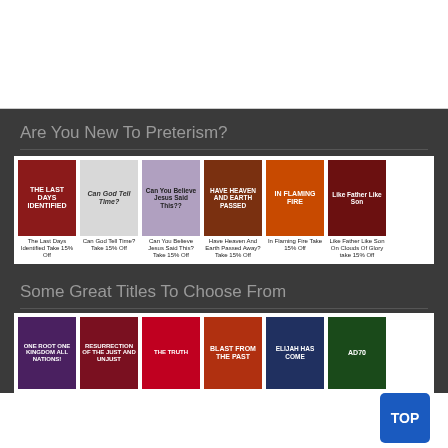[Figure (other): White top banner area (advertisement placeholder)]
Are You New To Preterism?
[Figure (illustration): Row of six book covers with discount labels: The Last Days Identified Take 15% Off, Can God Tell Time? Take 15% Off, Can You Believe Jesus Said This? Take 15% Off, Have Heaven And Earth Passed Away? Take 15% Off, In Flaming Fire Take 15% Off, Like Father Like Son On Clouds Of Glory take 15% Off]
Some Great Titles To Choose From
[Figure (illustration): Row of six book covers: One Root One Kingdom All Nations!, Resurrection of the Just and Unjust, (red/dark cover), Blast from the Past, Elijah Has Come A Solution to Romans 9:6-23, AD70 A Shadow of the Real End?]